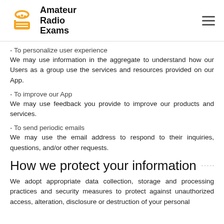Amateur Radio Exams
- To personalize user experience
We may use information in the aggregate to understand how our Users as a group use the services and resources provided on our App.
- To improve our App
We may use feedback you provide to improve our products and services.
- To send periodic emails
We may use the email address to respond to their inquiries, questions, and/or other requests.
How we protect your information
We adopt appropriate data collection, storage and processing practices and security measures to protect against unauthorized access, alteration, disclosure or destruction of your personal